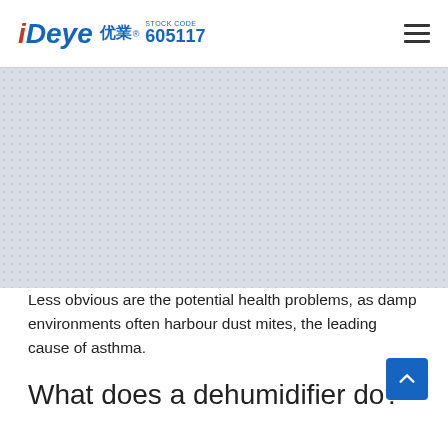Deye 优业® STOCK CODE 605117
[Figure (photo): Hero image area showing a dotted/textured light gray background, likely a product or room photo placeholder]
Less obvious are the potential health problems, as damp environments often harbour dust mites, the leading cause of asthma.
What does a dehumidifier do?